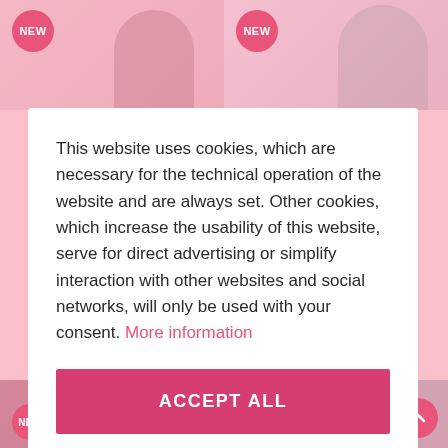[Figure (screenshot): Top banner strip showing two product/model image panels with pink NEW circular badges]
This website uses cookies, which are necessary for the technical operation of the website and are always set. Other cookies, which increase the usability of this website, serve for direct advertising or simplify interaction with other websites and social networks, will only be used with your consent. More information
ACCEPT ALL
Configure
Terms and Conditions   Privacy Policy   Legal Notice
[Figure (screenshot): Bottom banner strip showing two more product/model image panels with pink NEW circular badges and a pink scroll-to-top button]